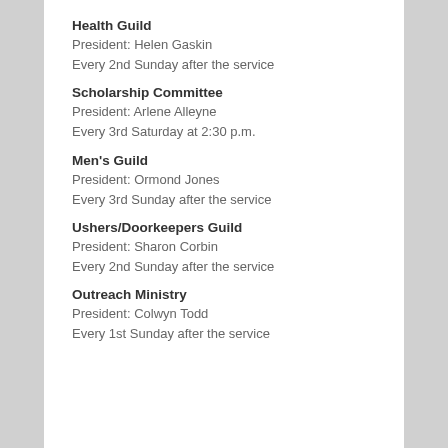Health Guild
President: Helen Gaskin
Every 2nd Sunday after the service
Scholarship Committee
President: Arlene Alleyne
Every 3rd Saturday at 2:30 p.m.
Men's Guild
President: Ormond Jones
Every 3rd Sunday after the service
Ushers/Doorkeepers Guild
President: Sharon Corbin
Every 2nd Sunday after the service
Outreach Ministry
President: Colwyn Todd
Every 1st Sunday after the service